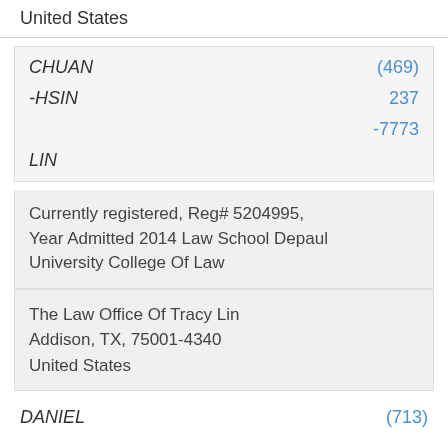United States
| CHUAN | (469) |
| -HSIN | 237 |
|  | -7773 |
| LIN |  |
Currently registered, Reg# 5204995, Year Admitted 2014 Law School Depaul University College Of Law
The Law Office Of Tracy Lin
Addison, TX, 75001-4340
United States
DANIEL (713)